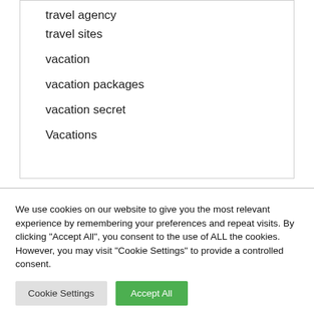travel agency
travel sites
vacation
vacation packages
vacation secret
Vacations
We use cookies on our website to give you the most relevant experience by remembering your preferences and repeat visits. By clicking "Accept All", you consent to the use of ALL the cookies. However, you may visit "Cookie Settings" to provide a controlled consent.